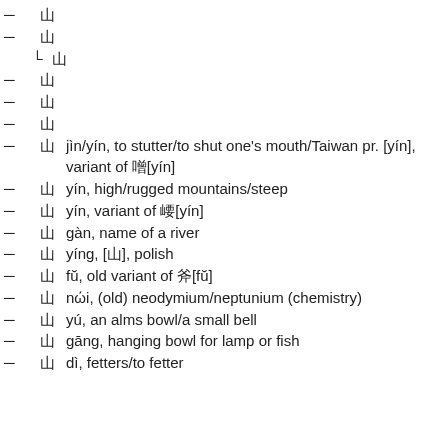㸃
㸄
㷿 (sub-entry)
㸅
㸆
㸇
㸈 jìn/yín, to stutter/to shut one's mouth/Taiwan pr. [yín], variant of 噤[yín]
㸉 yín, high/rugged mountains/steep
㸊 yín, variant of 嶾[yín]
㸋 gàn, name of a river
㸌 yíng, [㸌], polish
㸍 fǔ, old variant of 斧[fǔ]
㸎 nǎi, (old) neodymium/neptunium (chemistry)
㸏 yú, an alms bowl/a small bell
㸐 gāng, hanging bowl for lamp or fish
㸑 dì, fetters/to fetter